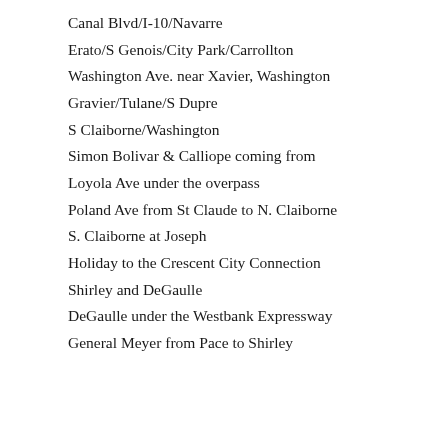Canal Blvd/I-10/Navarre
Erato/S Genois/City Park/Carrollton
Washington Ave. near Xavier, Washington
Gravier/Tulane/S Dupre
S Claiborne/Washington
Simon Bolivar & Calliope coming from Loyola Ave under the overpass
Poland Ave from St Claude to N. Claiborne
S. Claiborne at Joseph
Holiday to the Crescent City Connection
Shirley and DeGaulle
DeGaulle under the Westbank Expressway
General Meyer from Pace to Shirley